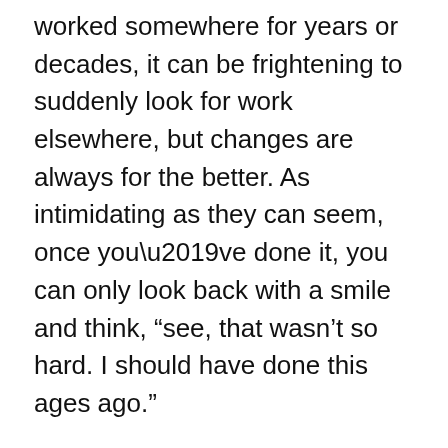worked somewhere for years or decades, it can be frightening to suddenly look for work elsewhere, but changes are always for the better. As intimidating as they can seem, once you’ve done it, you can only look back with a smile and think, “see, that wasn’t so hard. I should have done this ages ago.”
Compare it to someone who just survived a heart attack. Now that he or she receives a second chance at life, it is unlikely that they are going to indulge in high cholesterol meats and other unhealthy foods. It happened once. Couldn’t it happen again? Many heart attack survivors change to a healthier diet, either of their own volition or on recommendation by their doctor.